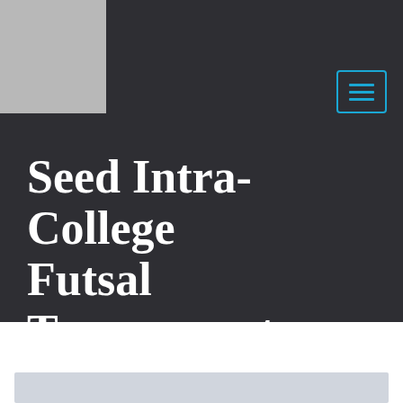[Figure (other): Gray square placeholder image in top-left corner of dark header]
[Figure (other): Hamburger menu button icon with cyan/blue border and three horizontal lines]
Seed Intra-College Futsal Tournament